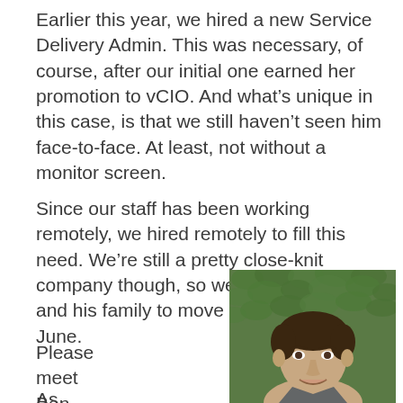Earlier this year, we hired a new Service Delivery Admin. This was necessary, of course, after our initial one earned her promotion to vCIO. And what’s unique in this case, is that we still haven’t seen him face-to-face. At least, not without a monitor screen.
Since our staff has been working remotely, we hired remotely to fill this need. We’re still a pretty close-knit company though, so we’re excited for him and his family to move ‘back home’ in June.
Please meet Ben Brown.
[Figure (photo): Headshot of Ben Brown, a man with dark hair smiling, photographed in front of a dense green leafy background.]
As